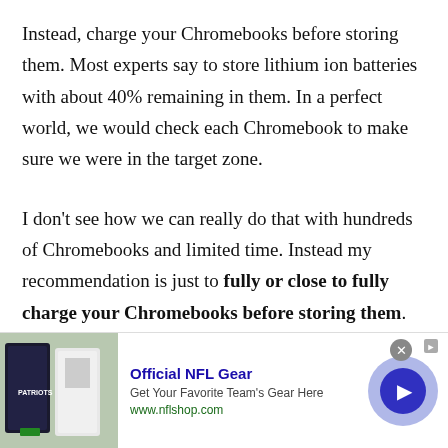Instead, charge your Chromebooks before storing them. Most experts say to store lithium ion batteries with about 40% remaining in them. In a perfect world, we would check each Chromebook to make sure we were in the target zone.
I don't see how we can really do that with hundreds of Chromebooks and limited time. Instead my recommendation is just to fully or close to fully charge your Chromebooks before storing them.
[Figure (other): Advertisement banner for Official NFL Gear showing NFL jerseys photo, text 'Official NFL Gear - Get Your Favorite Team's Gear Here - www.nflshop.com', a close button, and a blue arrow button]